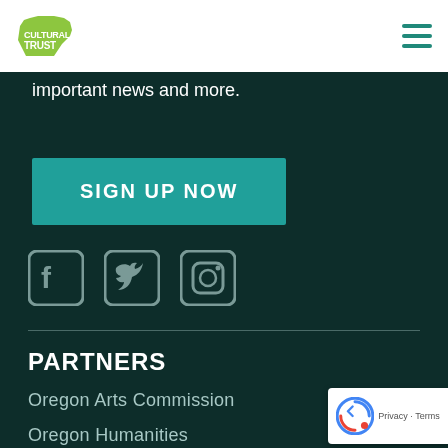Cultural Trust (logo) | navigation menu
important news and more.
SIGN UP NOW
[Figure (illustration): Social media icons: Facebook, Twitter, Instagram]
PARTNERS
Oregon Arts Commission
Oregon Humanities
Oregon Heritage Commission